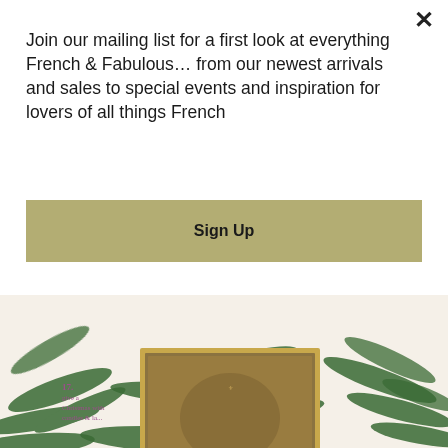[Figure (illustration): Christmas gift guide collage showing various French antique items: a tapestry, wooden table, chest of drawers, armchair, candelabras, chairs, candles, chocolate, cheese board, botanical prints, honey jars, numbered 6-16 with purple descriptive text on a background of green pine branches]
Join our mailing list for a first look at everything French & Fabulous… from our newest arrivals and sales to special events and inspiration for lovers of all things French
Sign Up